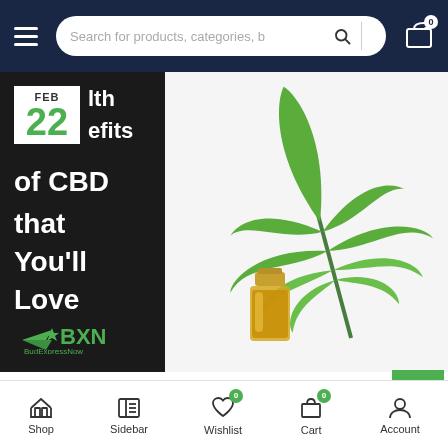Search for products, categories, b
[Figure (photo): Blog post card with dark background showing date FEB 22 in white box with green number, white bold text reading 'Health Benefits of CBD that You'll Love', and green BXN BudExpressNow logo at bottom]
[Figure (photo): Cannabis leaf and small glass jar of CBD oil on white background]
CANNABIS, CBD, WEEDUCATION
Health Benefits of CBD that You'll Love
Shop  Sidebar  Wishlist 0  Cart 0  Account